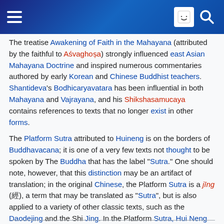Wikipedia page header with hamburger menu, user icon, and search icon
The treatise Awakening of Faith in the Mahayana (attributed by the faithful to Aśvaghoṣa) strongly influenced east Asian Mahayana Doctrine and inspired numerous commentaries authored by early Korean and Chinese Buddhist teachers. Shantideva's Bodhicaryavatara has been influential in both Mahayana and Vajrayana, and his Shikshasamucaya contains references to texts that no longer exist in other forms.
The Platform Sutra attributed to Huineng is on the borders of Buddhavacana; it is one of a very few texts not thought to be spoken by The Buddha that has the label "Sutra." One should note, however, that this distinction may be an artifact of translation; in the original Chinese, the Platform Sutra is a jīng (經), a term that may be translated as "Sutra", but is also applied to a variety of other classic texts, such as the Daodejing and the Shi Jing. In the Platform Sutra, Hui Neng gives an autobiographical account of his succession as Zen Patriarch, as well as teachings about Zen theory and practice. The Zen and Ch'an school in particular rely on non-canonical accounts of Zen masters lives and teachings, for example the Blue Cliff Record.